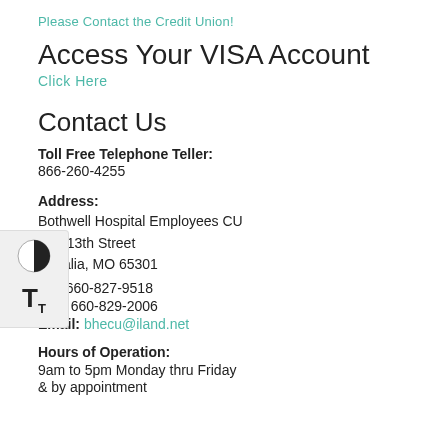Please Contact the Credit Union!
Access Your VISA Account
Click Here
Contact Us
Toll Free Telephone Teller:
866-260-4255
Address:
Bothwell Hospital Employees CU
1 E. 13th Street
Sedalia, MO 65301
Tel: 660-827-9518
Fax: 660-829-2006
Email: bhecu@iland.net
Hours of Operation:
9am to 5pm Monday thru Friday
& by appointment